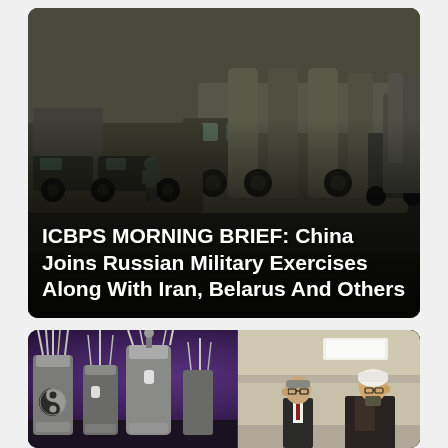[Figure (photo): Military convoy with large missile launcher vehicles and trucks on a road, soldier visible walking. Dark overcast scene.]
ICBPS MORNING BRIEF: China Joins Russian Military Exercises Along With Iran, Belarus And Others
[Figure (photo): Nuclear centrifuge or reactor equipment display with metallic cylindrical devices under purple lighting, with two officials (one in clerical robes) visible on the right side.]